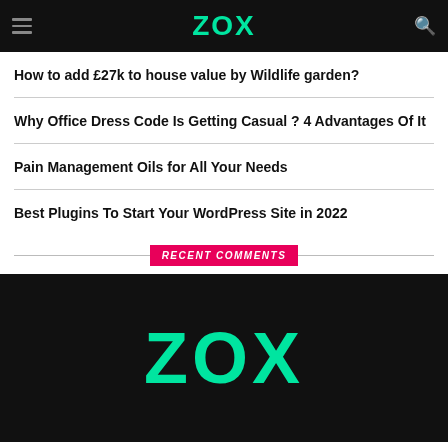ZOX
How to add £27k to house value by Wildlife garden?
Why Office Dress Code Is Getting Casual ? 4 Advantages Of It
Pain Management Oils for All Your Needs
Best Plugins To Start Your WordPress Site in 2022
RECENT COMMENTS
ZOX